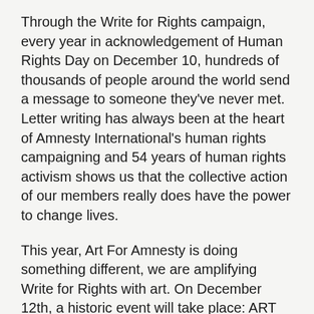Through the Write for Rights campaign, every year in acknowledgement of Human Rights Day on December 10, hundreds of thousands of people around the world send a message to someone they've never met. Letter writing has always been at the heart of Amnesty International's human rights campaigning and 54 years of human rights activism shows us that the collective action of our members really does have the power to change lives.
This year, Art For Amnesty is doing something different, we are amplifying Write for Rights with art. On December 12th, a historic event will take place: ART FOR RIGHTS. Through a partnership with New Orleans native, Brandan “BMike” Odums, we are collaborating with 12 artists to highlight the stories of 12 international cases through art and creative installations. In addition to an experience aimed to bring attention to Louisiana as the “Prison Capital of The World”, murals will call attention to cases of